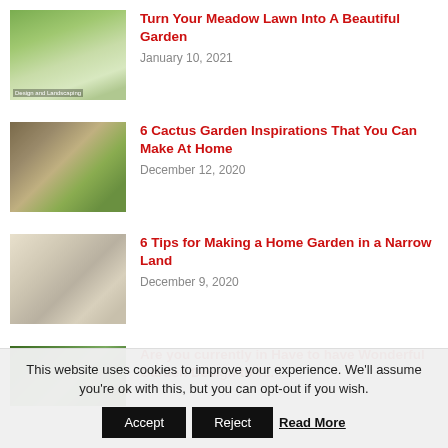[Figure (photo): Garden path with stepping stones through green lawn and lavender flowers]
Turn Your Meadow Lawn Into A Beautiful Garden
January 10, 2021
[Figure (photo): Various succulents and cactus plants in a garden arrangement]
6 Cactus Garden Inspirations That You Can Make At Home
December 12, 2020
[Figure (photo): Hand holding a pencil over a garden layout plan drawing]
6 Tips for Making a Home Garden in a Narrow Land
December 9, 2020
[Figure (photo): Green garden landscape with paths]
Are you currently in Have to have Wonderful Garden Design to T...
This website uses cookies to improve your experience. We'll assume you're ok with this, but you can opt-out if you wish.
Accept  Reject  Read More